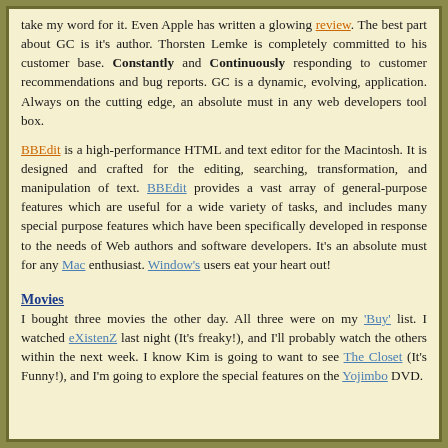take my word for it. Even Apple has written a glowing review. The best part about GC is it's author. Thorsten Lemke is completely committed to his customer base. Constantly and Continuously responding to customer recommendations and bug reports. GC is a dynamic, evolving, application. Always on the cutting edge, an absolute must in any web developers tool box.
BBEdit is a high-performance HTML and text editor for the Macintosh. It is designed and crafted for the editing, searching, transformation, and manipulation of text. BBEdit provides a vast array of general-purpose features which are useful for a wide variety of tasks, and includes many special purpose features which have been specifically developed in response to the needs of Web authors and software developers. It's an absolute must for any Mac enthusiast. Window's users eat your heart out!
Movies
I bought three movies the other day. All three were on my 'Buy' list. I watched eXistenZ last night (It's freaky!), and I'll probably watch the others within the next week. I know Kim is going to want to see The Closet (It's Funny!), and I'm going to explore the special features on the Yojimbo DVD.